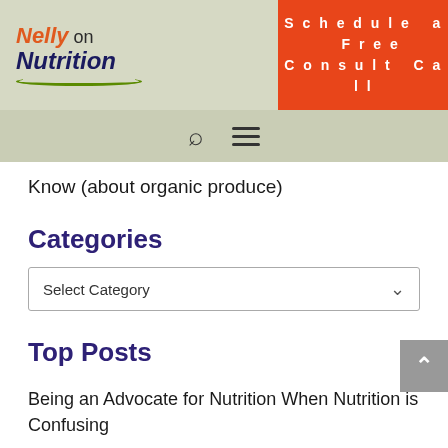Nelly on Nutrition — Schedule a Free Consult Call
Know (about organic produce)
Categories
Select Category
Top Posts
Being an Advocate for Nutrition When Nutrition is Confusing
Making Sense of Nutrition News, Part I
I Used to Know Everything! (Me and the